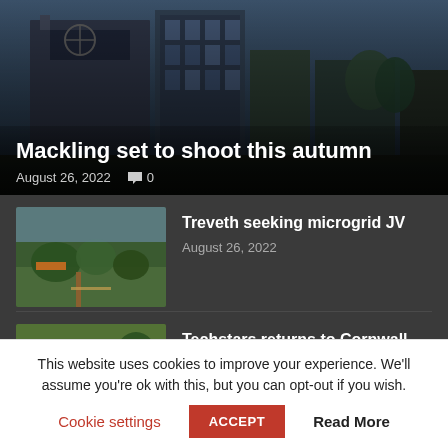[Figure (photo): Hero image of a building with dark sky background, overlaid with article title and metadata]
Mackling set to shoot this autumn
August 26, 2022   💬 0
[Figure (photo): Thumbnail of a garden or outdoor area with green plants and pathways]
Treveth seeking microgrid JV
August 26, 2022
[Figure (photo): Thumbnail of a group of people gathered outside a building]
Techstars returns to Cornwall
August 25, 2022
This website uses cookies to improve your experience. We'll assume you're ok with this, but you can opt-out if you wish.
Cookie settings   ACCEPT   Read More